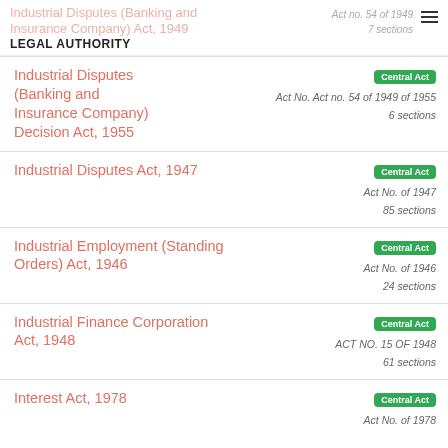Industrial Disputes (Banking and Insurance Company) Act, 1949 | LEGAL AUTHORITY | Act no. 54 of 1949 | 7 sections
Industrial Disputes (Banking and Insurance Company) Decision Act, 1955 | Central Act | Act No. Act no. 54 of 1949 of 1955 | 6 sections
Industrial Disputes Act, 1947 | Central Act | Act No. of 1947 | 85 sections
Industrial Employment (Standing Orders) Act, 1946 | Central Act | Act No. of 1946 | 24 sections
Industrial Finance Corporation Act, 1948 | Central Act | ACT NO. 15 OF 1948 | 61 sections
Interest Act, 1978 | Central Act | Act No. of 1978